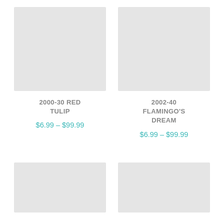[Figure (photo): Light gray placeholder image for 2000-30 RED TULIP product (top-left)]
2000-30 RED TULIP
$6.99 – $99.99
[Figure (photo): Light gray placeholder image for 2002-40 FLAMINGO'S DREAM product (top-right)]
2002-40 FLAMINGO'S DREAM
$6.99 – $99.99
[Figure (photo): Light gray placeholder image for bottom-left product (partially visible)]
[Figure (photo): Light gray placeholder image for bottom-right product (partially visible)]